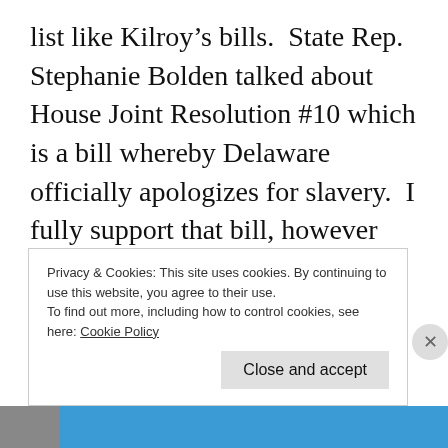list like Kilroy's bills.  State Rep. Stephanie Bolden talked about House Joint Resolution #10 which is a bill whereby Delaware officially apologizes for slavery.  I fully support that bill, however the discussion that ensued from some legislators, especially the one who talked about honoring the rights of people and the other who talked about
Privacy & Cookies: This site uses cookies. By continuing to use this website, you agree to their use.
To find out more, including how to control cookies, see here: Cookie Policy
Close and accept